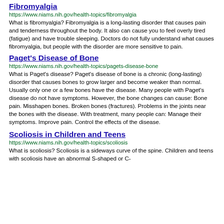Fibromyalgia
https://www.niams.nih.gov/health-topics/fibromyalgia
What is fibromyalgia? Fibromyalgia is a long-lasting disorder that causes pain and tenderness throughout the body. It also can cause you to feel overly tired (fatigue) and have trouble sleeping. Doctors do not fully understand what causes fibromyalgia, but people with the disorder are more sensitive to pain.
Paget's Disease of Bone
https://www.niams.nih.gov/health-topics/pagets-disease-bone
What is Paget's disease? Paget's disease of bone is a chronic (long-lasting) disorder that causes bones to grow larger and become weaker than normal. Usually only one or a few bones have the disease. Many people with Paget's disease do not have symptoms. However, the bone changes can cause: Bone pain. Misshapen bones. Broken bones (fractures). Problems in the joints near the bones with the disease. With treatment, many people can: Manage their symptoms. Improve pain. Control the effects of the disease.
Scoliosis in Children and Teens
https://www.niams.nih.gov/health-topics/scoliosis
What is scoliosis? Scoliosis is a sideways curve of the spine. Children and teens with scoliosis have an abnormal S-shaped or C-